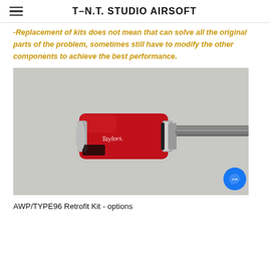T-N.T. STUDIO AIRSOFT
-Replacement of kits does not mean that can solve all the original parts of the problem, sometimes still have to modify the other components to achieve the best performance.
[Figure (photo): A red anodized aluminum hop-up or nozzle component attached to a metal barrel, airsoft gun part, on a light gray background.]
AWP/TYPE96 Retrofit Kit - options